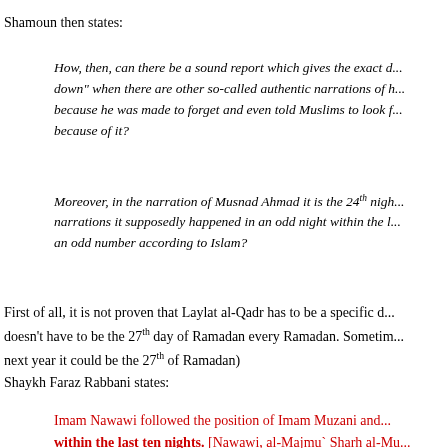Shamoun then states:
How, then, can there be a sound report which gives the exact d... down" when there are other so-called authentic narrations of h... because he was made to forget and even told Muslims to look f... because of it?
Moreover, in the narration of Musnad Ahmad it is the 24th nigh... narrations it supposedly happened in an odd night within the l... an odd number according to Islam?
First of all, it is not proven that Laylat al-Qadr has to be a specific d... doesn't have to be the 27th day of Ramadan every Ramadan. Sometim... next year it could be the 27th of Ramadan)
Shaykh Faraz Rabbani states:
Imam Nawawi followed the position of Imam Muzani and... within the last ten nights. [Nawawi, al-Majmu` Sharh al-Mu...